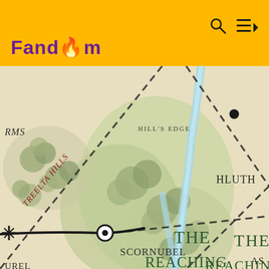Fandom
[Figure (map): Fantasy map showing The Reaching Woods region with labeled locations including Hluth, Scornubel, Treelta Hills, and dashed boundary lines with a river running through the forested area.]